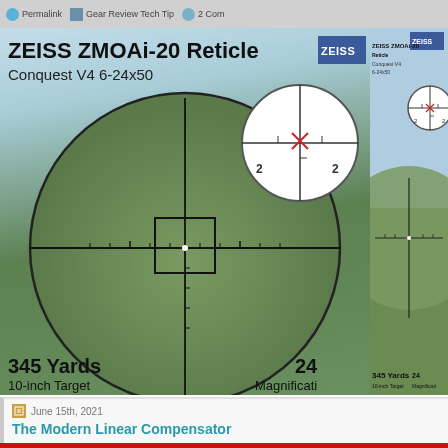Permalink  Gear Review Tech Tip  2 Com
[Figure (photo): ZEISS ZMOAi-20 Reticle advertisement showing Conquest V4 6-24x50 scope view of a grassy field at 345 Yards, 10-inch Target, with reticle overlay and inset diagram of the reticle pattern. Magnification label visible at bottom right. ZEISS logo in top right corner.]
June 15th, 2021
The Modern Linear Compensator
[Figure (other): Red banner with large bold italic text reading 'Linear Com' (partially visible)]